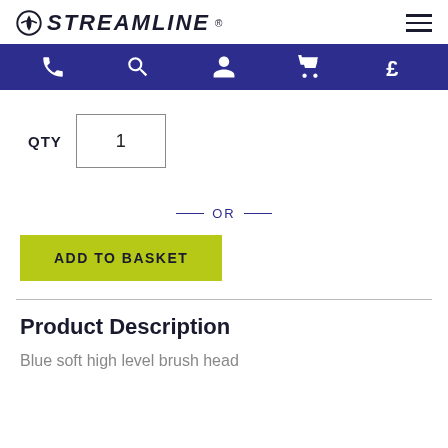STREAMLINE (logo with hamburger menu)
[Figure (infographic): Dark blue navigation bar with icons: phone, search, person, cart, pound sign]
QTY 1
— OR —
ADD TO BASKET
Product Description
Blue soft high level brush head